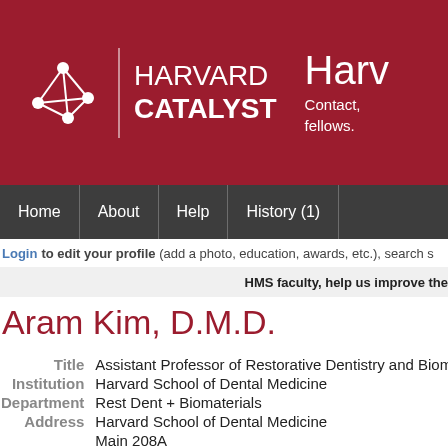[Figure (logo): Harvard Catalyst logo with network graph icon and text 'HARVARD CATALYST' on dark red background]
Harv Contact, fellows.
Home | About | Help | History (1)
Login to edit your profile (add a photo, education, awards, etc.), search s
HMS faculty, help us improve the
Aram Kim, D.M.D.
| Field | Value |
| --- | --- |
| Title | Assistant Professor of Restorative Dentistry and Biomater |
| Institution | Harvard School of Dental Medicine |
| Department | Rest Dent + Biomaterials |
| Address | Harvard School of Dental Medicine |
|  | Main 208A |
|  | 188 Longwood Ave |